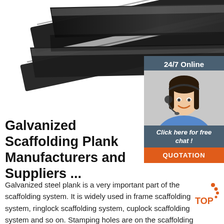[Figure (photo): Two dark steel flat bar / scaffolding planks stacked at an angle on white background]
[Figure (infographic): 24/7 Online chat widget with woman wearing headset, 'Click here for free chat!' text, and orange QUOTATION button]
Galvanized Scaffolding Plank Manufacturers and Suppliers ...
Galvanized steel plank is a very important part of the scaffolding system. It is widely used in frame scaffolding system, ringlock scaffolding system, cuplock scaffolding system and so on. Stamping holes are on the scaffolding plank to resist